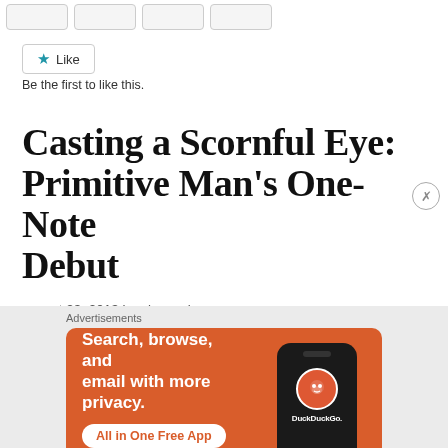[Figure (screenshot): Four tab/button elements in a row at the top of the page]
[Figure (screenshot): Like button with blue star icon]
Be the first to like this.
Casting a Scornful Eye: Primitive Man's One-Note Debut
august 23, 2013 by alex carlson
Advertisements
[Figure (screenshot): DuckDuckGo advertisement banner: Search, browse, and email with more privacy. All in One Free App. Shows phone with DuckDuckGo logo.]